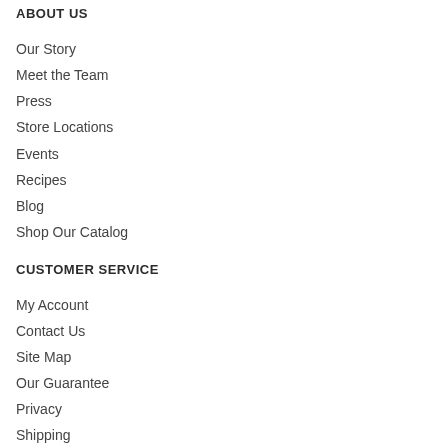ABOUT US
Our Story
Meet the Team
Press
Store Locations
Events
Recipes
Blog
Shop Our Catalog
CUSTOMER SERVICE
My Account
Contact Us
Site Map
Our Guarantee
Privacy
Shipping